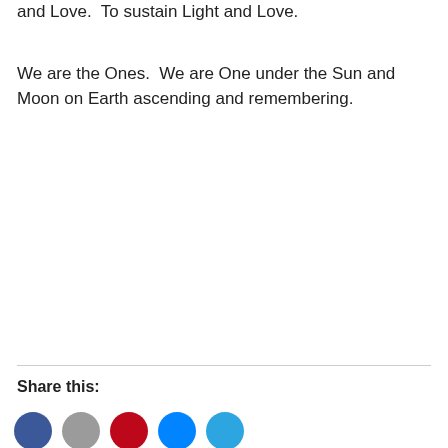and Love.  To sustain Light and Love.
We are the Ones.  We are One under the Sun and Moon on Earth ascending and remembering.
Share this:
[Figure (illustration): Row of five social media sharing icon circles: Facebook (blue), generic share (gray), Pinterest (red), Messenger (blue), Telegram (light blue)]